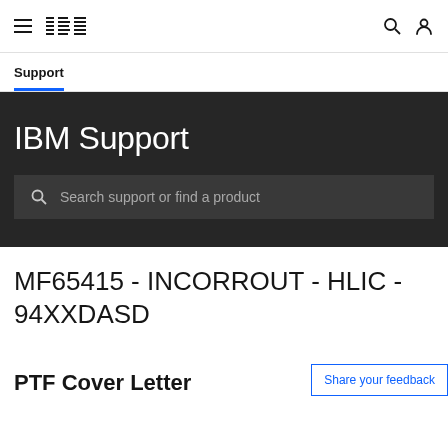IBM Support
Support
IBM Support
Search support or find a product
MF65415 - INCORROUT - HLIC - 94XXDASD
Share your feedback
PTF Cover Letter